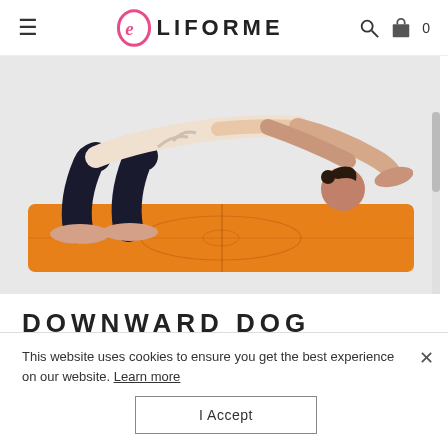≡  LIFORME  🔍  🛍 0
[Figure (photo): Woman performing downward dog yoga pose on an orange Liforme yoga mat with alignment guide markings, against a light grey background.]
DOWNWARD DOG
This website uses cookies to ensure you get the best experience on our website. Learn more
I Accept